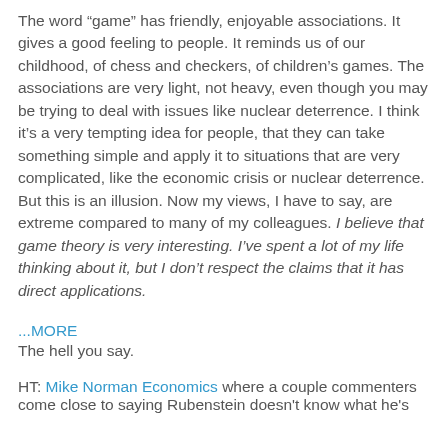The word “game” has friendly, enjoyable associations. It gives a good feeling to people. It reminds us of our childhood, of chess and checkers, of children’s games. The associations are very light, not heavy, even though you may be trying to deal with issues like nuclear deterrence. I think it’s a very tempting idea for people, that they can take something simple and apply it to situations that are very complicated, like the economic crisis or nuclear deterrence. But this is an illusion. Now my views, I have to say, are extreme compared to many of my colleagues. I believe that game theory is very interesting. I’ve spent a lot of my life thinking about it, but I don’t respect the claims that it has direct applications.
...MORE
The hell you say.
HT: Mike Norman Economics where a couple commenters come close to saying Rubenstein doesn't know what he's